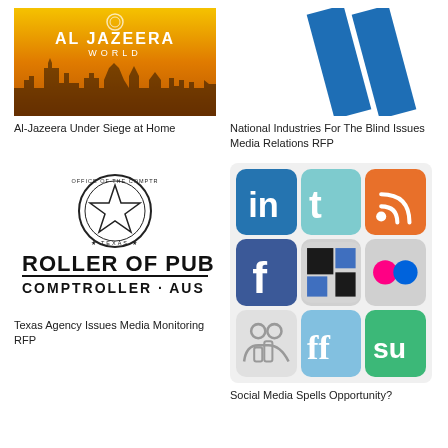[Figure (photo): Al-Jazeera World logo/banner with orange desert skyline background]
Al-Jazeera Under Siege at Home
[Figure (logo): Blue double-slash logo on white background, National Industries For The Blind]
National Industries For The Blind Issues Media Relations RFP
[Figure (logo): Texas Comptroller of Public Accounts seal and partial text ROLLER OF PUB / COMPTROLLER · AUS]
Texas Agency Issues Media Monitoring RFP
[Figure (infographic): 3x3 grid of social media icons: LinkedIn, Twitter, RSS, Facebook, Delicious, Flickr, and others]
Social Media Spells Opportunity?